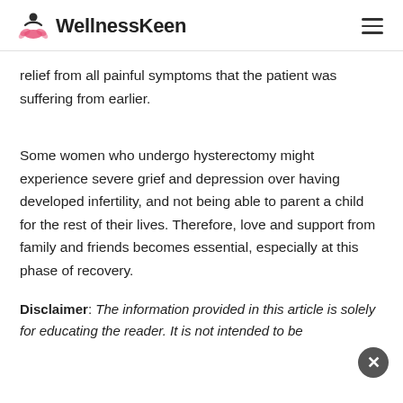WellnessKeen
relief from all painful symptoms that the patient was suffering from earlier.
Some women who undergo hysterectomy might experience severe grief and depression over having developed infertility, and not being able to parent a child for the rest of their lives. Therefore, love and support from family and friends becomes essential, especially at this phase of recovery.
Disclaimer: The information provided in this article is solely for educating the reader. It is not intended to be